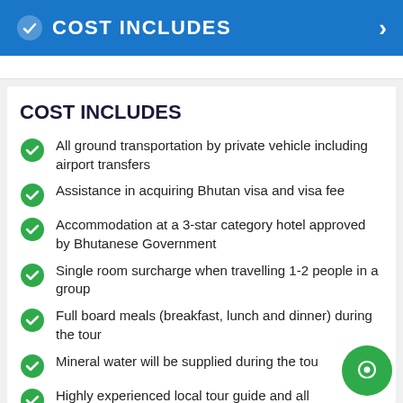COST INCLUDES
COST INCLUDES
All ground transportation by private vehicle including airport transfers
Assistance in acquiring Bhutan visa and visa fee
Accommodation at a 3-star category hotel approved by Bhutanese Government
Single room surcharge when travelling 1-2 people in a group
Full board meals (breakfast, lunch and dinner) during the tour
Mineral water will be supplied during the tour
Highly experienced local tour guide and all entry/permit fees during the tour